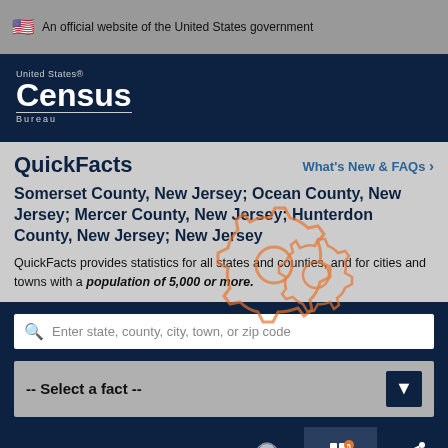An official website of the United States government
[Figure (logo): United States Census Bureau logo]
QuickFacts
Somerset County, New Jersey; Ocean County, New Jersey; Mercer County, New Jersey; Hunterdon County, New Jersey; New Jersey
QuickFacts provides statistics for all states and counties, and for cities and towns with a population of 5,000 or more.
[Figure (illustration): Gears icon overlay]
Enter state, county, city, town, or zip code
-- Select a fact --